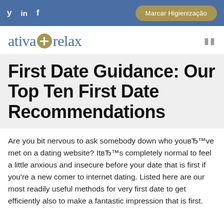y  in  f  |  Marcar Higienização
[Figure (logo): ativa+relax logo with golden circle plus sign, blue serif text]
First Date Guidance: Our Top Ten First Date Recommendations
Are you bit nervous to ask somebody down who youвЂ™ve met on a dating website? ItвЂ™s completely normal to feel a little anxious and insecure before your date that is first if you're a new comer to internet dating. Listed here are our most readily useful methods for very first date to get efficiently also to make a fantastic impression that is first.